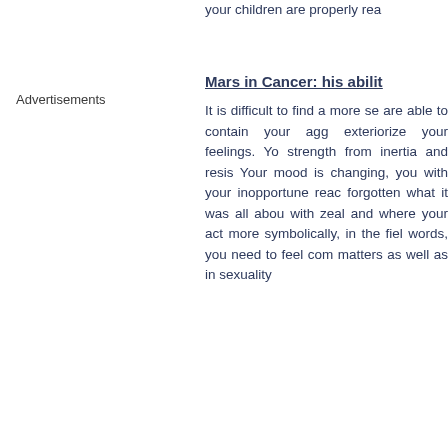your children are properly rea...
Advertisements
Mars in Cancer: his abilit...
It is difficult to find a more se... are able to contain your agg... exteriorize your feelings. Yo... strength from inertia and resis... Your mood is changing, you ... with your inopportune reac... forgotten what it was all abou... with zeal and where your act... more symbolically, in the fiel... words, you need to feel com... matters as well as in sexuality...